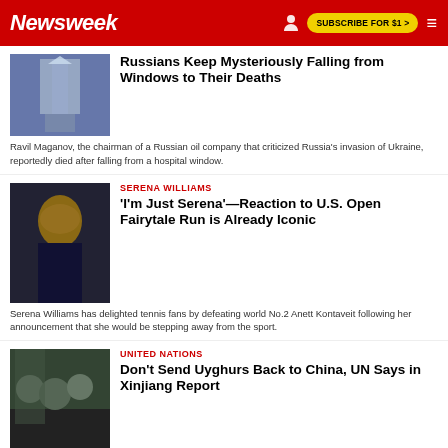Newsweek — SUBSCRIBE FOR $1 >
Russians Keep Mysteriously Falling from Windows to Their Deaths
Ravil Maganov, the chairman of a Russian oil company that criticized Russia's invasion of Ukraine, reportedly died after falling from a hospital window.
SERENA WILLIAMS
'I'm Just Serena'—Reaction to U.S. Open Fairytale Run is Already Iconic
Serena Williams has delighted tennis fans by defeating world No.2 Anett Kontaveit following her announcement that she would be stepping away from the sport.
UNITED NATIONS
Don't Send Uyghurs Back to China, UN Says in Xinjiang Report
China responded to the long-awaited UN document with a 122-page document of its own.
POLAND